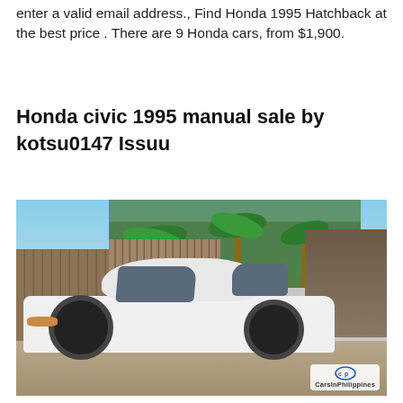enter a valid email address., Find Honda 1995 Hatchback at the best price . There are 9 Honda cars, from $1,900.
Honda civic 1995 manual sale by kotsu0147 Issuu
[Figure (photo): White Honda Civic 1995 sedan parked in front of a bamboo fence and wooden structures, with palm trees in the background. CarsInPhilippines watermark in bottom right corner.]